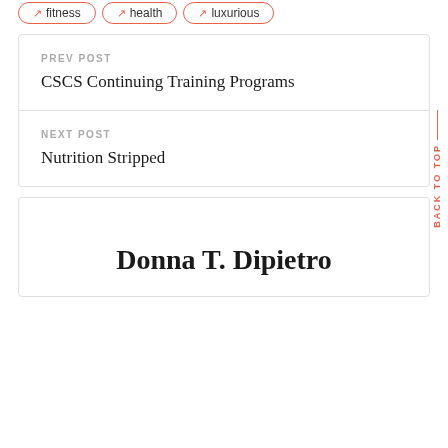↗ fitness
↗ health
↗ luxurious
PREV POST
CSCS Continuing Training Programs
NEXT POST
Nutrition Stripped
BACK TO TOP
Donna T. Dipietro